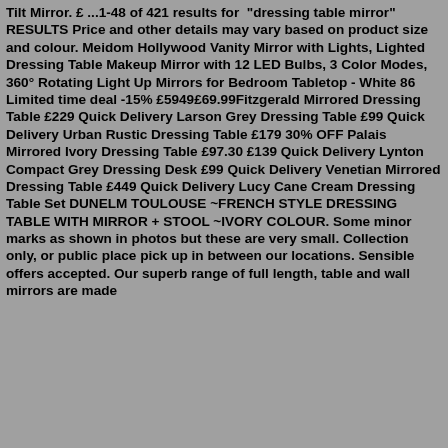Tilt Mirror. £ ...1-48 of 421 results for "dressing table mirror" RESULTS Price and other details may vary based on product size and colour. Meidom Hollywood Vanity Mirror with Lights, Lighted Dressing Table Makeup Mirror with 12 LED Bulbs, 3 Color Modes, 360° Rotating Light Up Mirrors for Bedroom Tabletop - White 86 Limited time deal -15% £5949£69.99Fitzgerald Mirrored Dressing Table £229 Quick Delivery Larson Grey Dressing Table £99 Quick Delivery Urban Rustic Dressing Table £179 30% OFF Palais Mirrored Ivory Dressing Table £97.30 £139 Quick Delivery Lynton Compact Grey Dressing Desk £99 Quick Delivery Venetian Mirrored Dressing Table £449 Quick Delivery Lucy Cane Cream Dressing Table Set DUNELM TOULOUSE ~FRENCH STYLE DRESSING TABLE WITH MIRROR + STOOL ~IVORY COLOUR. Some minor marks as shown in photos but these are very small. Collection only, or public place pick up in between our locations. Sensible offers accepted. Our superb range of full length, table and wall mirrors are made